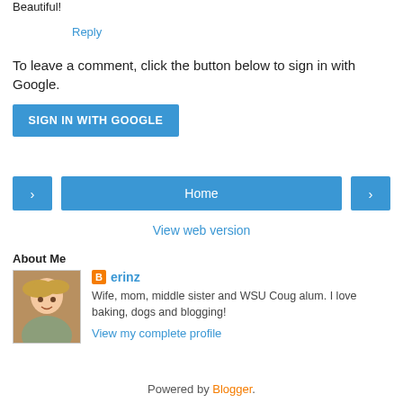Beautiful!
Reply
To leave a comment, click the button below to sign in with Google.
[Figure (other): SIGN IN WITH GOOGLE button, blue rounded rectangle]
[Figure (other): Navigation bar with left arrow, Home button, and right arrow]
View web version
About Me
[Figure (photo): Profile photo of erinz, a smiling blonde woman]
erinz
Wife, mom, middle sister and WSU Coug alum. I love baking, dogs and blogging!
View my complete profile
Powered by Blogger.